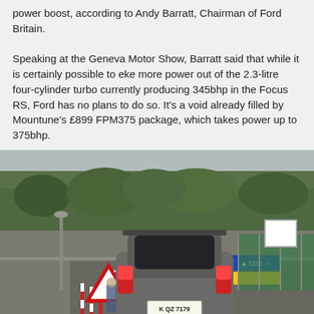power boost, according to Andy Barratt, Chairman of Ford Britain. Speaking at the Geneva Motor Show, Barratt said that while it is certainly possible to eke more power out of the 2.3-litre four-cylinder turbo currently producing 345bhp in the Focus RS, Ford has no plans to do so. It's a void already filled by Mountune's £899 FPM375 package, which takes power up to 375bhp.
[Figure (photo): Rear view of a grey Ford Focus RS driving on a road near a roundabout with road signs, trees in background. Caption reads 'The New Ford Focus RS Limited Edition?']
The New Ford Focus RS Limited Edition?